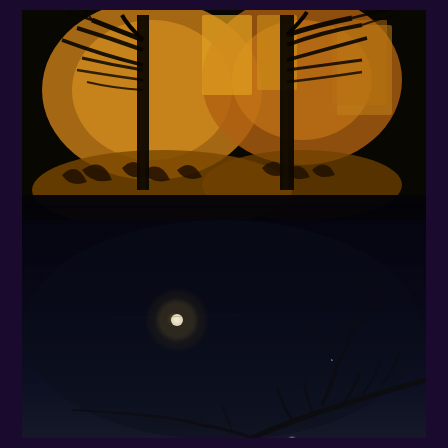[Figure (photo): A nighttime outdoor photograph showing two scenes blended together. The upper portion shows bare tree silhouettes with warm golden/orange lighting illuminating the ground beneath them, casting intricate shadow patterns. The lower portion shows a dark night sky with a bright glowing light source (possibly the moon or a bright planet) visible in the center-left area, a small point of light to the lower right, and bare tree branches silhouetted in the lower-right corner. The image has a dark navy/black sky and the overall scene is very dark. The photo is framed with a deep dark purple border on all sides.]